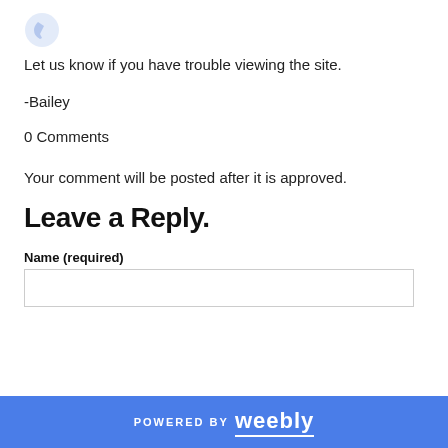[Figure (logo): Circular logo icon in light blue/grey, followed by greyed-out text logo]
Let us know if you have trouble viewing the site.
-Bailey
0 Comments
Your comment will be posted after it is approved.
Leave a Reply.
Name (required)
POWERED BY weebly